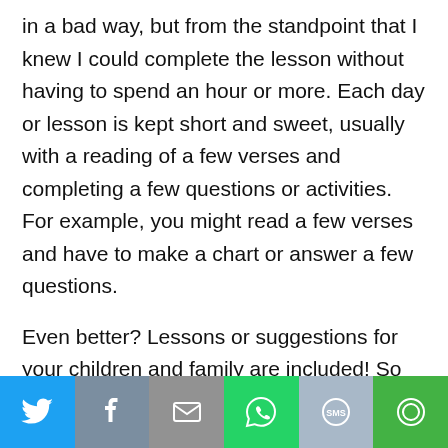in a bad way, but from the standpoint that I knew I could complete the lesson without having to spend an hour or more. Each day or lesson is kept short and sweet, usually with a reading of a few verses and completing a few questions or activities. For example, you might read a few verses and have to make a chart or answer a few questions.
Even better? Lessons or suggestions for your children and family are included! So not only do you get the benefit of your daily lesson but you can carry it to your loved ones as well. I thought this was a wonderful way to include my family in what I'm
[Figure (infographic): Social media share bar with six buttons: Twitter (blue bird icon), Facebook (gray f icon), Email (gray envelope icon), WhatsApp (green phone icon), SMS (blue-gray SMS icon), More (green circular arrow icon)]